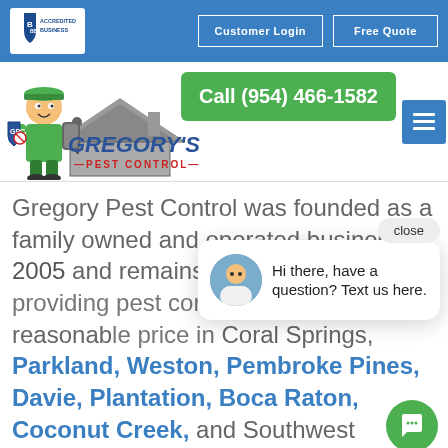BBB Accredited Business | Customer Login | Free Quote
[Figure (logo): Gregory's Pest Control logo with mascot character in green uniform holding pest control equipment, shield emblem, house roofline, and company name]
Call (954) 466-1582
Gregory Pest Control was founded as a family owned and operated business in 2005 and remains committed to providing pest control services at a reasonable price in Coral Springs, Parkland, Weston, Pembroke Pines, Davie, Plantation, Boca Raton, Coconut Creek, and Southwest
Hi there, have a question? Text us here.